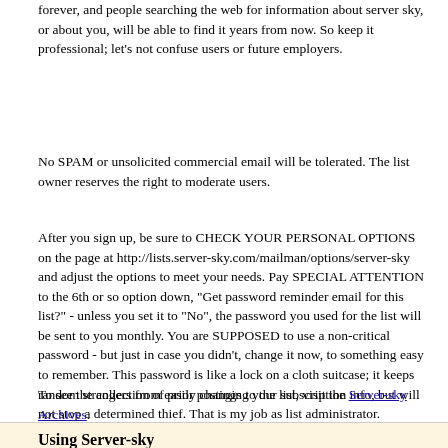forever, and people searching the web for information about server sky, or about you, will be able to find it years from now. So keep it professional; let's not confuse users or future employers.
No SPAM or unsolicited commercial email will be tolerated. The list owner reserves the right to moderate users.
After you sign up, be sure to CHECK YOUR PERSONAL OPTIONS on the page at http://lists.server-sky.com/mailman/options/server-sky and adjust the options to meet your needs. Pay SPECIAL ATTENTION to the 6th or so option down, "Get password reminder email for this list?" - unless you set it to "No", the password you used for the list will be sent to you monthly. You are SUPPOSED to use a non-critical password - but just in case you didn't, change it now, to something easy to remember. This password is like a lock on a cloth suitcase; it keeps random strangers from easily changing your subscription info, but will not stop a determined thief. That is my job as list administrator.
To see the collection of prior postings to the list, visit the Server-sky Archives.
Using Server-sky